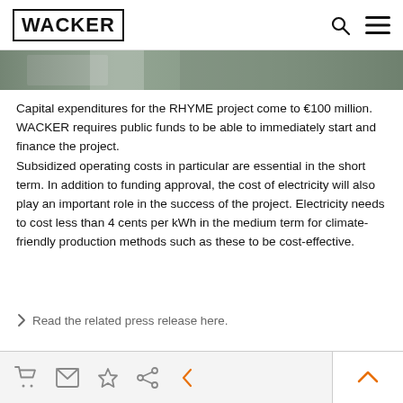WACKER
[Figure (photo): Partial image strip showing an industrial or environmental scene in muted green/grey tones]
Capital expenditures for the RHYME project come to €100 million. WACKER requires public funds to be able to immediately start and finance the project. Subsidized operating costs in particular are essential in the short term. In addition to funding approval, the cost of electricity will also play an important role in the success of the project. Electricity needs to cost less than 4 cents per kWh in the medium term for climate-friendly production methods such as these to be cost-effective.
› Read the related press release here.
Footer navigation icons: cart, email, bookmark, share, back, scroll-up